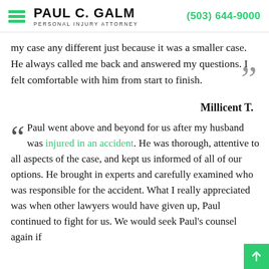PAUL C. GALM PERSONAL INJURY ATTORNEY | (503) 644-9000
my case any different just because it was a smaller case. He always called me back and answered my questions. I felt comfortable with him from start to finish.
Millicent T.
Paul went above and beyond for us after my husband was injured in an accident. He was thorough, attentive to all aspects of the case, and kept us informed of all of our options. He brought in experts and carefully examined who was responsible for the accident. What I really appreciated was when other lawyers would have given up, Paul continued to fight for us. We would seek Paul's counsel again if